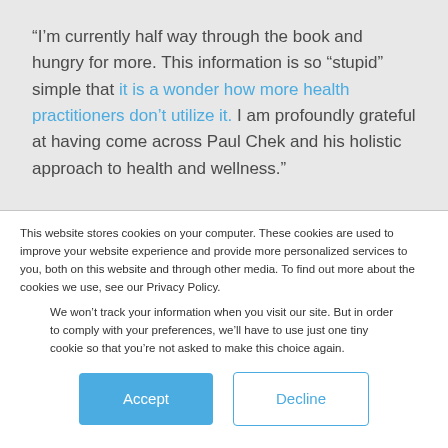“I’m currently half way through the book and hungry for more. This information is so “stupid” simple that it is a wonder how more health practitioners don’t utilize it. I am profoundly grateful at having come across Paul Chek and his holistic approach to health and wellness.”
This website stores cookies on your computer. These cookies are used to improve your website experience and provide more personalized services to you, both on this website and through other media. To find out more about the cookies we use, see our Privacy Policy.
We won’t track your information when you visit our site. But in order to comply with your preferences, we’ll have to use just one tiny cookie so that you’re not asked to make this choice again.